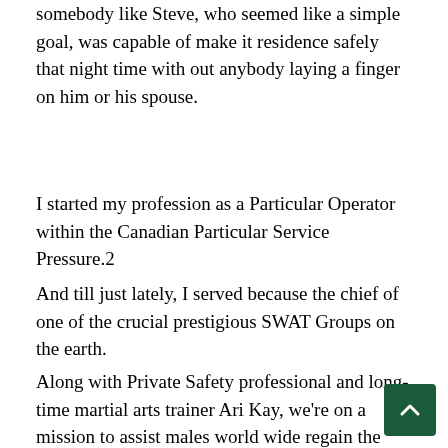somebody like Steve, who seemed like a simple goal, was capable of make it residence safely that night time with out anybody laying a finger on him or his spouse.
I started my profession as a Particular Operator within the Canadian Particular Service Pressure.2
And till just lately, I served because the chief of one of the crucial prestigious SWAT Groups on the earth.
Along with Private Safety professional and long-time martial arts trainer Ari Kay, we're on a mission to assist males world wide regain the boldness that comes from KNOWING you possibly can handle enterprise when a risk emerges.